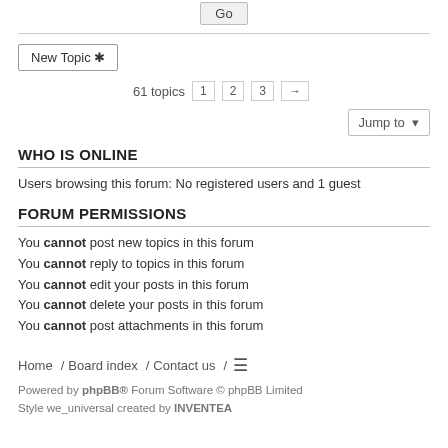Go (button)
New Topic *
61 topics  1  2  3  →
Jump to
WHO IS ONLINE
Users browsing this forum: No registered users and 1 guest
FORUM PERMISSIONS
You cannot post new topics in this forum
You cannot reply to topics in this forum
You cannot edit your posts in this forum
You cannot delete your posts in this forum
You cannot post attachments in this forum
Home / Board index / Contact us /  ≡
Powered by phpBB® Forum Software © phpBB Limited
Style we_universal created by INVENTEA